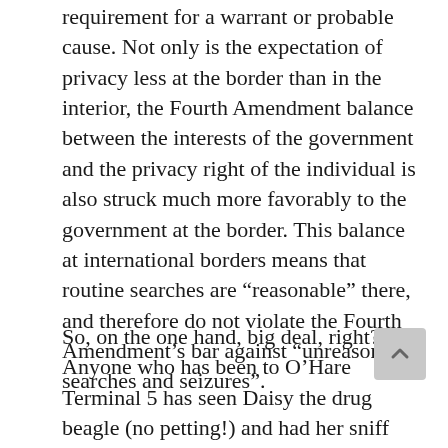requirement for a warrant or probable cause. Not only is the expectation of privacy less at the border than in the interior, the Fourth Amendment balance between the interests of the government and the privacy right of the individual is also struck much more favorably to the government at the border. This balance at international borders means that routine searches are “reasonable” there, and therefore do not violate the Fourth Amendment’s bar against “unreasonable searches and seizures”.
So, on the one hand, big deal, right? Anyone who has been to O’Hare Terminal 5 has seen Daisy the drug beagle (no petting!) and had her sniff your bag. It makes sense for the government to search people coming into the United States, and it’s probably reasonable to allow some exceptions to the normal protections afforded to those people who are already